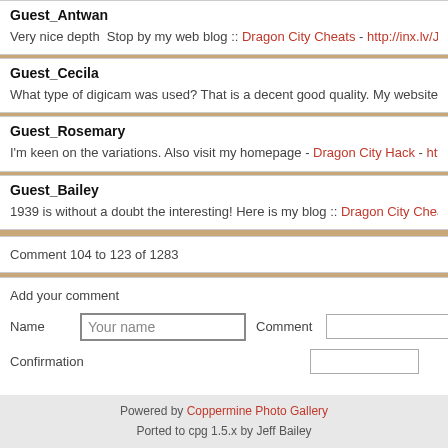Guest_Antwan
Very nice depth  Stop by my web blog :: Dragon City Cheats - http://inx.lv/Jlwo
Guest_Cecila
What type of digicam was used? That is a decent good quality. My website: Dragon...
Guest_Rosemary
I'm keen on the variations. Also visit my homepage - Dragon City Hack - http://altur...
Guest_Bailey
1939 is without a doubt the interesting! Here is my blog :: Dragon City Cheats - (...)
Comment 104 to 123 of 1283
Add your comment
Name  [Your name]  Comment  []  Confirmation  []
Powered by Coppermine Photo Gallery
Ported to cpg 1.5.x by Jeff Bailey